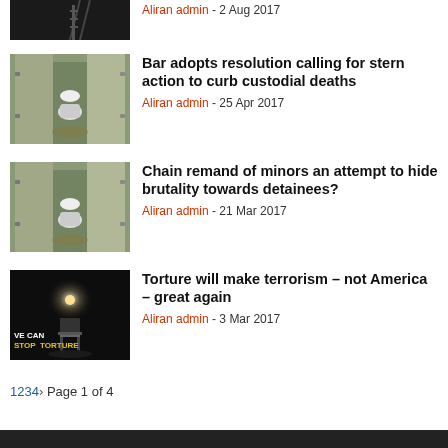[Figure (photo): Dark image with ladder, top of page partial]
Aliran admin - 2 Aug 2017
[Figure (photo): Prison cell with toilet and open doors]
Bar adopts resolution calling for stern action to curb custodial deaths
Aliran admin - 25 Apr 2017
[Figure (photo): Prison cell with toilet and open doors]
Chain remand of minors an attempt to hide brutality towards detainees?
Aliran admin - 21 Mar 2017
[Figure (photo): Dark room with spotlight and chair, We Can Stop Torture text]
Torture will make terrorism – not America – great again
Aliran admin - 3 Mar 2017
1234 > Page 1 of 4